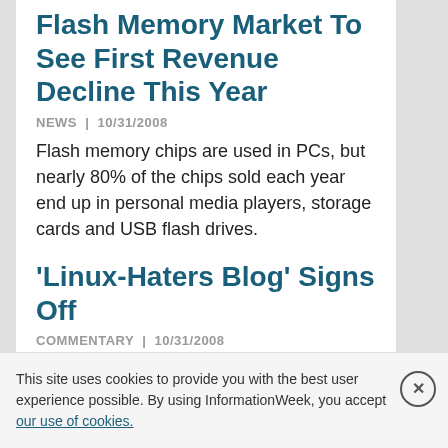Flash Memory Market To See First Revenue Decline This Year
NEWS  |  10/31/2008
Flash memory chips are used in PCs, but nearly 80% of the chips sold each year end up in personal media players, storage cards and USB flash drives.
'Linux-Haters Blog' Signs Off
COMMENTARY  |  10/31/2008
As of last Saturday, the infamous Linux Hater's Blog has signed off. Seekers of curmudgeonly wisdom about Linux cleverly disguised as flaming bile will have to look elsewhere. And, strangely enough,
This site uses cookies to provide you with the best user experience possible. By using InformationWeek, you accept our use of cookies.